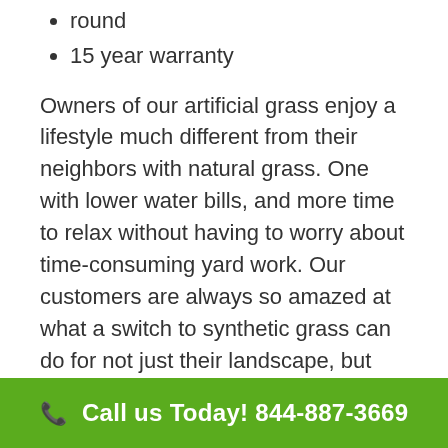round
15 year warranty
Owners of our artificial grass enjoy a lifestyle much different from their neighbors with natural grass. One with lower water bills, and more time to relax without having to worry about time-consuming yard work. Our customers are always so amazed at what a switch to synthetic grass can do for not just their landscape, but their lives.
At Turf Now!® LA, we specialize in installing residential lawns that look picture-perfect all year long. No matter what the size of your
Call us Today! 844-887-3669